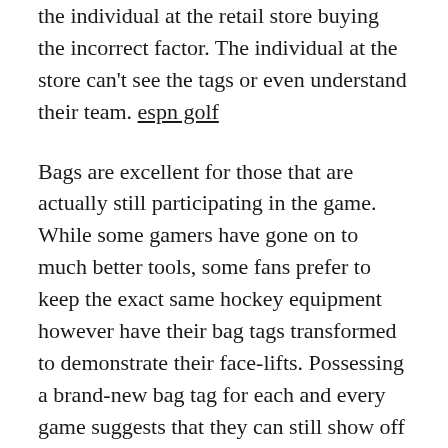the individual at the retail store buying the incorrect factor. The individual at the store can't see the tags or even understand their team. espn golf
Bags are excellent for those that are actually still participating in the game. While some gamers have gone on to much better tools, some fans prefer to keep the exact same hockey equipment however have their bag tags transformed to demonstrate their face-lifts. Possessing a brand-new bag tag for each and every game suggests that they can still show off their love of the video game by grabbing the same shirt they've had for years. When they were actually expanding up and also acquiring hockey equipment, it is actually a wonderful pointer of.
The bag tag has actually been actually around for